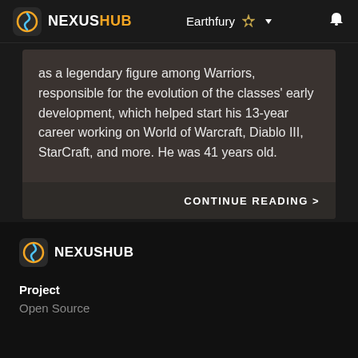NEXUSHUB | Earthfury
as a legendary figure among Warriors, responsible for the evolution of the classes' early development, which helped start his 13-year career working on World of Warcraft, Diablo III, StarCraft, and more. He was 41 years old.
CONTINUE READING >
[Figure (logo): NexusHub logo with icon in footer]
Project
Open Source